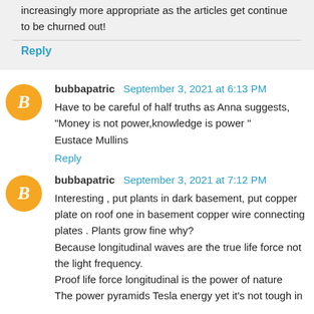increasingly more appropriate as the articles get continue to be churned out!
Reply
bubbapatric  September 3, 2021 at 6:13 PM
Have to be careful of half truths as Anna suggests,
“Money is not power,knowledge is power ”
Eustace Mullins
Reply
bubbapatric  September 3, 2021 at 7:12 PM
Interesting , put plants in dark basement, put copper plate on roof one in basement copper wire connecting plates . Plants grow fine why?
Because longitudinal waves are the true life force not the light frequency.
Proof life force longitudinal is the power of nature
The power pyramids Tesla energy yet it’s not tough in